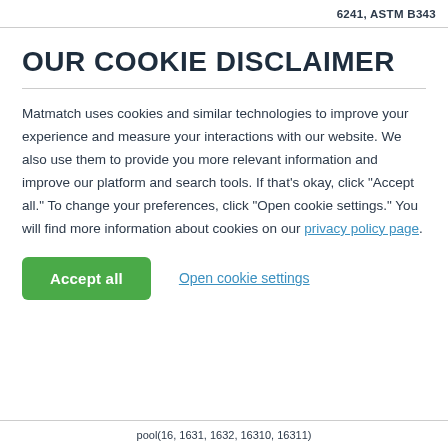6241, ASTM B343
OUR COOKIE DISCLAIMER
Matmatch uses cookies and similar technologies to improve your experience and measure your interactions with our website. We also use them to provide you more relevant information and improve our platform and search tools. If that’s okay, click “Accept all.” To change your preferences, click “Open cookie settings.” You will find more information about cookies on our privacy policy page.
Accept all   Open cookie settings
pool(16, 1631, 1632, 16310, 16311)